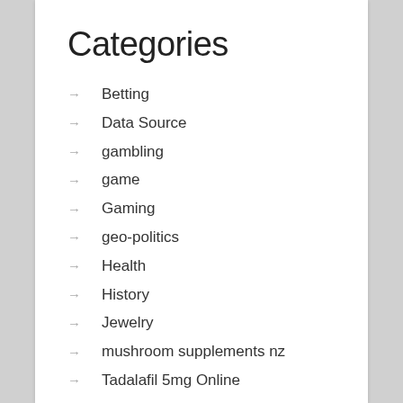Categories
Betting
Data Source
gambling
game
Gaming
geo-politics
Health
History
Jewelry
mushroom supplements nz
Tadalafil 5mg Online
Technology
Uncategorized